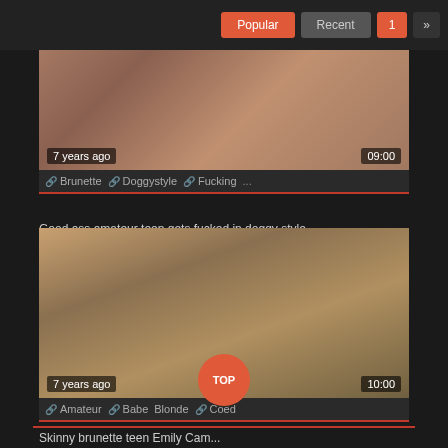[Figure (screenshot): Navigation bar with Popular and Recent buttons and page number 1 and next arrow]
[Figure (photo): Video thumbnail showing adult content, labeled 7 years ago and 09:00]
Brunette  Doggystyle  Fucking  ...
Good ass amateur teen gets fucked in doggy style
[Figure (photo): Video thumbnail showing adult content, labeled 7 years ago and 10:00]
Amateur  Babe  Blonde  Coed
Skinny brunette teen Emily Cam...